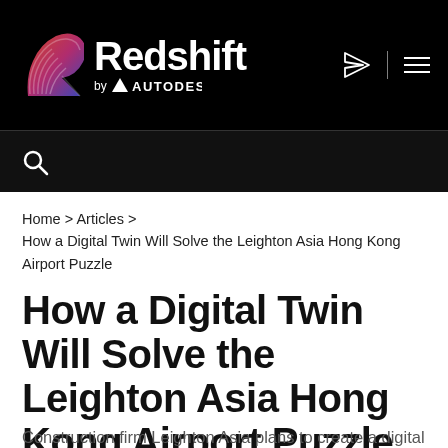Redshift by Autodesk
Home > Articles > How a Digital Twin Will Solve the Leighton Asia Hong Kong Airport Puzzle
How a Digital Twin Will Solve the Leighton Asia Hong Kong Airport Puzzle
Construction firm Leighton Asia plans to create a digital twin in its Hong Kong airport expansion—and